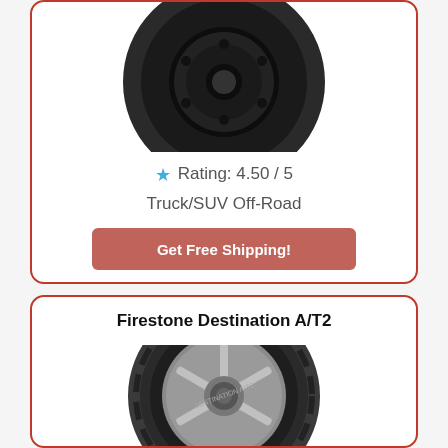[Figure (photo): Partial view of a black off-road truck/SUV tire with aggressive tread pattern on black rim, top portion of card]
⭐ Rating: 4.50 / 5
Truck/SUV Off-Road
Get Free Shipping!
Firestone Destination A/T2
[Figure (photo): Firestone Destination A/T2 tire with silver multi-spoke rim, all-terrain tread pattern, partial view]